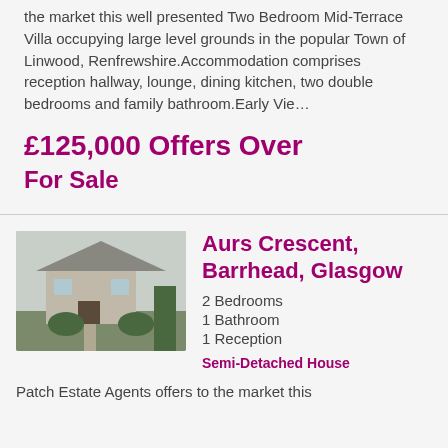the market this well presented Two Bedroom Mid-Terrace Villa occupying large level grounds in the popular Town of Linwood, Renfrewshire.Accommodation comprises reception hallway, lounge, dining kitchen, two double bedrooms and family bathroom.Early Vie…
£125,000 Offers Over
For Sale
Aurs Crescent, Barrhead, Glasgow
2 Bedrooms
1 Bathroom
1 Reception
Semi-Detached House
Patch Estate Agents offers to the market this